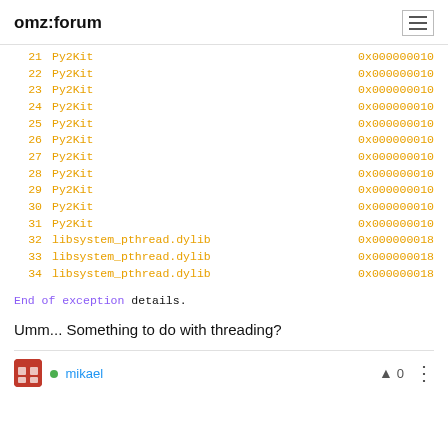omz:forum
21  Py2Kit  0x000000010
22  Py2Kit  0x000000010
23  Py2Kit  0x000000010
24  Py2Kit  0x000000010
25  Py2Kit  0x000000010
26  Py2Kit  0x000000010
27  Py2Kit  0x000000010
28  Py2Kit  0x000000010
29  Py2Kit  0x000000010
30  Py2Kit  0x000000010
31  Py2Kit  0x000000010
32  libsystem_pthread.dylib  0x000000018
33  libsystem_pthread.dylib  0x000000018
34  libsystem_pthread.dylib  0x000000018
End of exception details.
Umm... Something to do with threading?
mikael  0